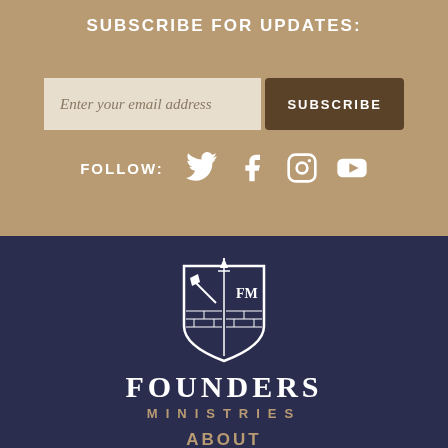SUBSCRIBE FOR UPDATES:
Enter your email address
SUBSCRIBE
FOLLOW:
[Figure (logo): Founders Ministries shield logo with sword and trowel, FM initials, brick pattern]
FOUNDERS MINISTRIES
ABOUT
MISSION
MINISTRIES